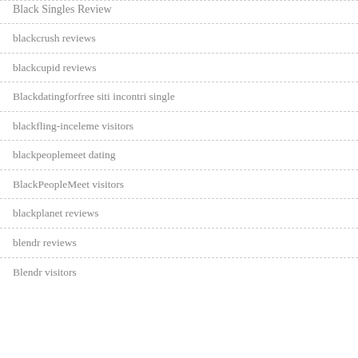Black Singles Review
blackcrush reviews
blackcupid reviews
Blackdatingforfree siti incontri single
blackfling-inceleme visitors
blackpeoplemeet dating
BlackPeopleMeet visitors
blackplanet reviews
blendr reviews
Blendr visitors